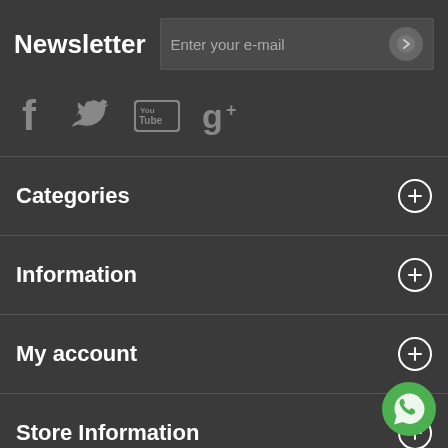Newsletter
Enter your e-mail
[Figure (infographic): Social media icons: Facebook, Twitter, YouTube, Google+]
Categories
Information
My account
Store Information
[Figure (logo): WhatsApp button icon in green circle at bottom right]